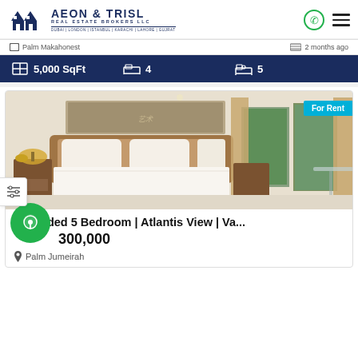[Figure (logo): Aeon & Trisl Real Estate Brokers LLC logo with house icons and city names: Dubai | London | Istanbul | Karachi | Lahore | Gujrat]
Palm Makahonest   2 months ago
5,000 SqFt   4   5
[Figure (photo): Luxury bedroom interior with a large bed, wooden headboard, wall art, arched windows with curtains, and garden view. 'For Rent' badge in cyan.]
Ungraded 5 Bedroom | Atlantis View | Va...
300,000
Palm Jumeirah